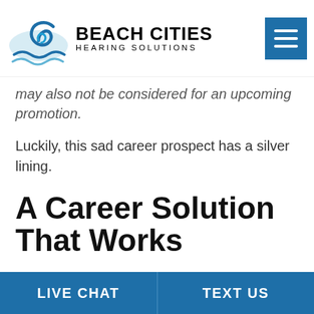Beach Cities Hearing Solutions — navigation header with hamburger menu
may also not be considered for an upcoming promotion.
Luckily, this sad career prospect has a silver lining.
A Career Solution That Works
The unemployment and wage gap can be eliminated by getting hearing aids according to
LIVE CHAT   TEXT US